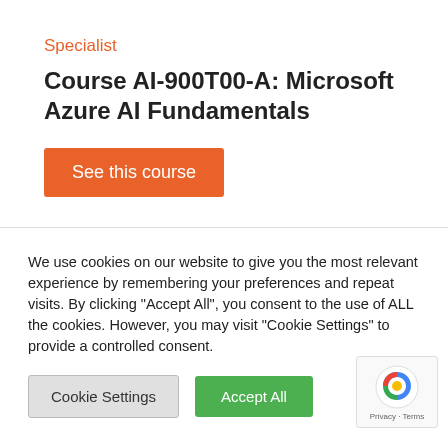Specialist
Course AI-900T00-A: Microsoft Azure AI Fundamentals
See this course
We use cookies on our website to give you the most relevant experience by remembering your preferences and repeat visits. By clicking "Accept All", you consent to the use of ALL the cookies. However, you may visit "Cookie Settings" to provide a controlled consent.
Cookie Settings
Accept All